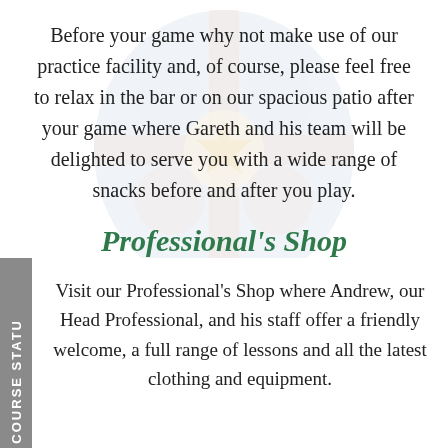[Figure (illustration): Faded watermark/crest logo in background behind main text area]
Before your game why not make use of our practice facility and, of course, please feel free to relax in the bar or on our spacious patio after your game where Gareth and his team will be delighted to serve you with a wide range of snacks before and after you play.
Professional's Shop
Visit our Professional's Shop where Andrew, our Head Professional, and his staff offer a friendly welcome, a full range of lessons and all the latest clothing and equipment.